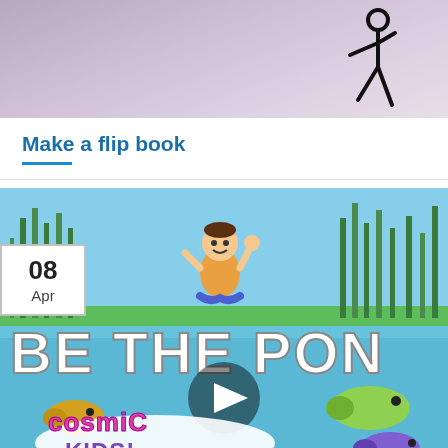[Figure (photo): Top portion of a video thumbnail or image showing a light purple/lavender background with a black stick figure walking on the right side]
Make a flip book
[Figure (photo): Video thumbnail for Cosmic Kids yoga/mindfulness content titled 'BE THE POND' showing a cartoon boy meditating on a pond with animated fish and the Cosmic Kids! logo. Date badge shows 08 Apr.]